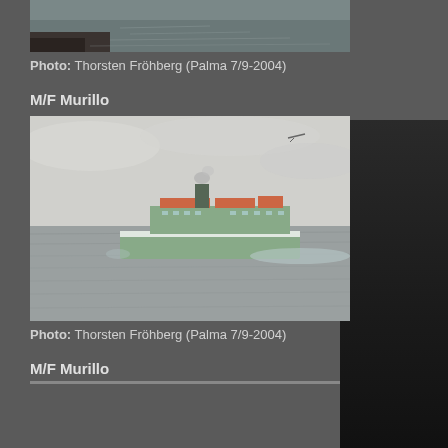[Figure (photo): Top portion of a ship photo showing rough sea water and dark rocky or wooden structure at bottom left, partial view cropped at top]
Photo: Thorsten Fröhberg (Palma 7/9-2004)
M/F Murillo
[Figure (photo): M/F Murillo ferry ship photographed on the sea near Palma, overcast sky, ship moving with wake visible, airplane visible in upper right sky]
Photo: Thorsten Fröhberg (Palma 7/9-2004)
M/F Murillo